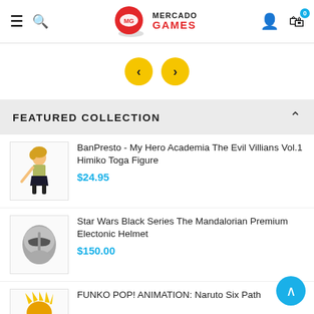[Figure (logo): Mercado Games logo with red circle, game controller icon, and MERCADO GAMES text in red/black]
[Figure (illustration): Carousel navigation with two yellow circle buttons with left and right chevron arrows]
FEATURED COLLECTION
[Figure (photo): BanPresto My Hero Academia Himiko Toga figure product image]
BanPresto - My Hero Academia The Evil Villians Vol.1 Himiko Toga Figure
$24.95
[Figure (photo): Star Wars Black Series Mandalorian Premium Electronic Helmet product image]
Star Wars Black Series The Mandalorian Premium Electonic Helmet
$150.00
[Figure (photo): FUNKO POP! ANIMATION Naruto Six Path product image (partially visible)]
FUNKO POP! ANIMATION: Naruto Six Path